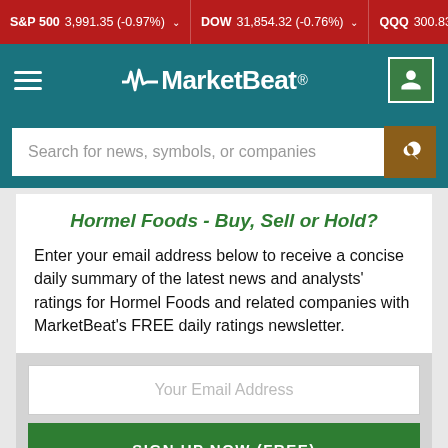S&P 500 3,991.35 (-0.97%) ▾  DOW 31,854.32 (-0.76%) ▾  QQQ 300.83 (-1…
[Figure (logo): MarketBeat logo with hamburger menu and user icon on teal navigation bar]
Search for news, symbols, or companies
Hormel Foods - Buy, Sell or Hold?
Enter your email address below to receive a concise daily summary of the latest news and analysts' ratings for Hormel Foods and related companies with MarketBeat's FREE daily ratings newsletter.
Your Email Address
SIGN UP NOW (FREE)
or
Sign up with Google